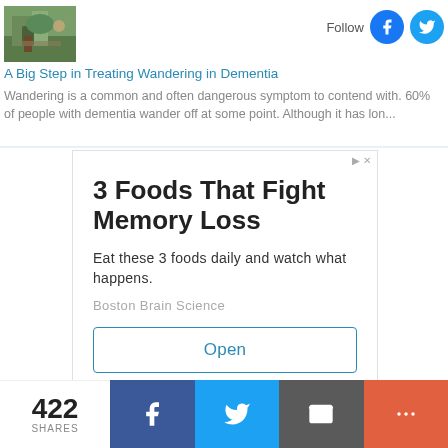[Figure (photo): Person sitting on a bench outdoors among greenery]
Follow
[Figure (logo): Facebook logo icon (blue circle with white f)]
[Figure (logo): Twitter logo icon (blue circle with white bird)]
A Big Step in Treating Wandering in Dementia
Wandering is a common and often dangerous symptom to contend with. 60% of people with dementia wander off at some point. Although it has lon...
[Figure (screenshot): Advertisement box: 3 Foods That Fight Memory Loss — Eat these 3 foods daily and watch what happens. Boston Brain Science. Open button.]
422 SHARES